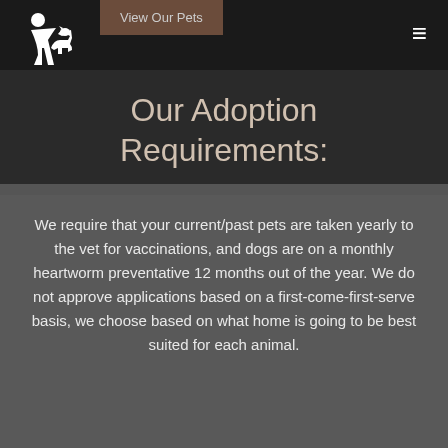[Figure (logo): Animal rescue organization logo: silhouettes of a person with a dog, white on dark background]
View Our Pets
Our Adoption Requirements:
We require that your current/past pets are taken yearly to the vet for vaccinations, and dogs are on a monthly heartworm preventative 12 months out of the year. We do not approve applications based on a first-come-first-serve basis, we choose based on what home is going to be best suited for each animal.